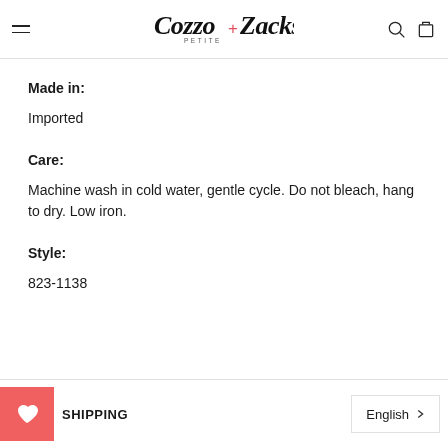Cozzo + Zacks Petite — navigation header
Made in: Imported
Care: Machine wash in cold water, gentle cycle. Do not bleach, hang to dry. Low iron.
Style: 823-1138
SHIPPING | English